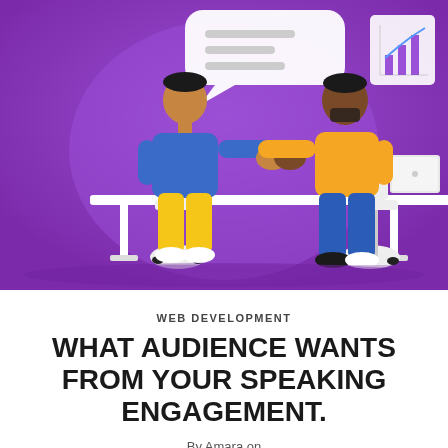[Figure (illustration): Two illustrated figures shaking hands across a white desk on a purple/violet background. Left figure wears a blue sweater and yellow pants; right figure wears a yellow top and blue pants. A speech bubble and a bar chart icon are visible in the background.]
WEB DEVELOPMENT
WHAT AUDIENCE WANTS FROM YOUR SPEAKING ENGAGEMENT.
By Amara on